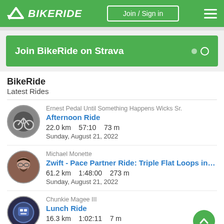BIKERIDE — Join / Sign in
[Figure (screenshot): Join BikeRide on Strava green banner with pagination dots]
BikeRide
Latest Rides
Ernest Pedal Until Something Happens Wicks Sr. — Afternoon Ride — 22.0 km  57:10  73 m — Sunday, August 21, 2022
Michael Monette — Zwift - Pace Partner Ride: Triple Flat Loops in Wa... — 61.2 km  1:48:00  273 m — Sunday, August 21, 2022
Chunkie Magee III — Lunch Ride — 16.3 km  1:02:11  7 m